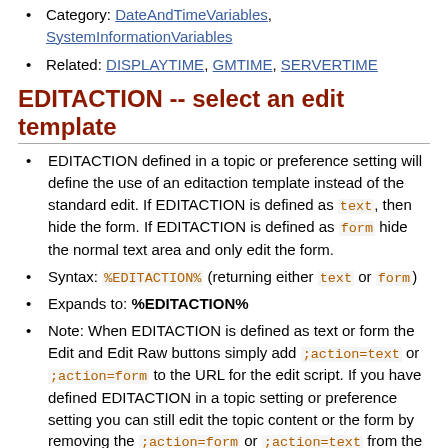Category: DateAndTimeVariables, SystemInformationVariables
Related: DISPLAYTIME, GMTIME, SERVERTIME
EDITACTION -- select an edit template
EDITACTION defined in a topic or preference setting will define the use of an editaction template instead of the standard edit. If EDITACTION is defined as text, then hide the form. If EDITACTION is defined as form hide the normal text area and only edit the form.
Syntax: %EDITACTION% (returning either text or form)
Expands to: %EDITACTION%
Note: When EDITACTION is defined as text or form the Edit and Edit Raw buttons simply add ;action=text or ;action=form to the URL for the edit script. If you have defined EDITACTION in a topic setting or preference setting you can still edit the topic content or the form by removing the ;action=form or ;action=text from the edit URL in the browser and reload.
Category: AdministrationVariables, EditingAndContentUpdateVariables